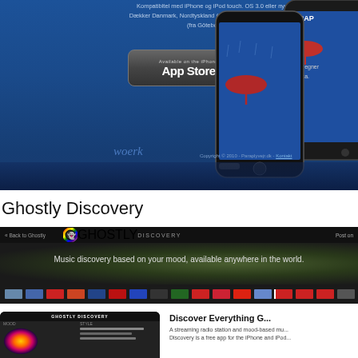[Figure (screenshot): Screenshot of Paraplyvejr app website with dark blue background, showing App Store button, phone mockups with umbrella imagery, woerk logo and copyright text]
Ghostly Discovery
[Figure (screenshot): Screenshot of Ghostly Discovery website banner showing dark background with colorful ghost logo, navigation bar, music discovery tagline, and country flag strip]
[Figure (screenshot): Bottom portion showing Ghostly Discovery phone mockup and Discover Everything G... text with app description]
Discover Everything G...
A streaming radio station and mood-based mu... Discovery is a free app for the iPhone and iPod...